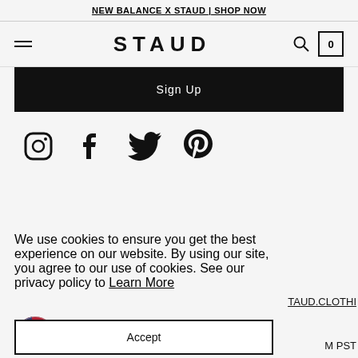NEW BALANCE X STAUD | SHOP NOW
STAUD
Sign Up
[Figure (illustration): Social media icons row: Instagram, Facebook, Twitter, Pinterest]
We use cookies to ensure you get the best experience on our website. By using our site, you agree to our use of cookies. See our privacy policy to Learn More
Accept
TAUD.CLOTHI
M PST